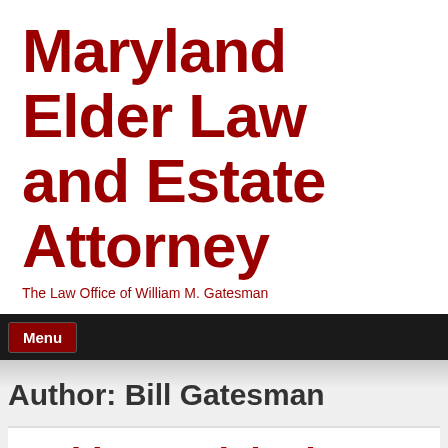Maryland Elder Law and Estate Attorney
The Law Office of William M. Gatesman
Menu
Author: Bill Gatesman
Making a Claim in a